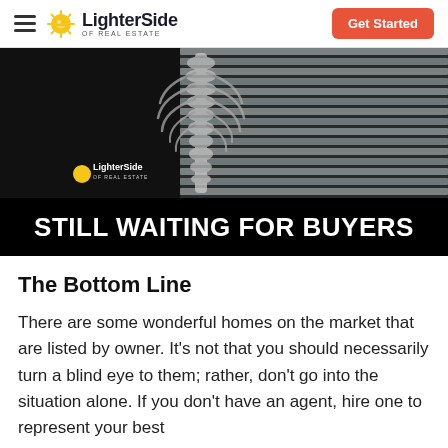LighterSide OF REAL ESTATE | Get Started
[Figure (photo): A skeleton viewed from behind through window blinds, with 'STILL WAITING FOR BUYERS' text overlay at the bottom, and a LighterSide of Real Estate watermark logo.]
The Bottom Line
There are some wonderful homes on the market that are listed by owner. It's not that you should necessarily turn a blind eye to them; rather, don't go into the situation alone. If you don't have an agent, hire one to represent your best